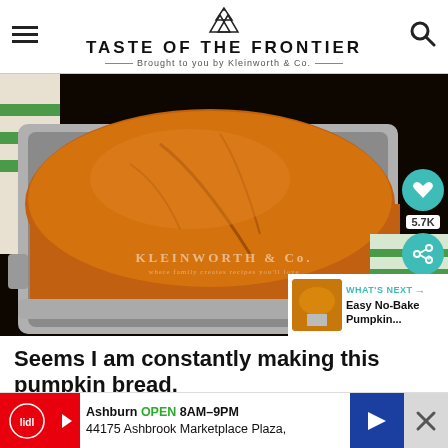TASTE OF THE FRONTIER — Brought to you by Kleinworth & Co.
[Figure (photo): Close-up photo of a golden-brown pumpkin bread loaf in a silver metal baking pan, with a green-striped cloth in background. Kleinworth & Co. watermark visible. Social share buttons (heart, 5.7K, share) on right. 'What's Next' thumbnail for Easy No-Bake Pumpkin... at bottom right.]
Seems I am constantly making this pumpkin bread.
Since changing it a little 2 years ago, it has been easy for me to b...
Ashburn OPEN 8AM–9PM 44175 Ashbrook Marketplace Plaza,